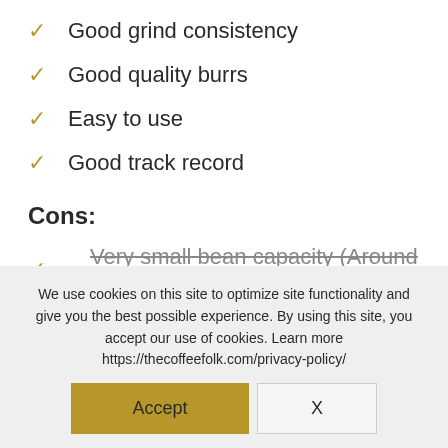Good grind consistency
Good quality burrs
Easy to use
Good track record
Cons:
Very small bean capacity (Around 20g)
We use cookies on this site to optimize site functionality and give you the best possible experience. By using this site, you accept our use of cookies. Learn more https://thecoffeefolk.com/privacy-policy/